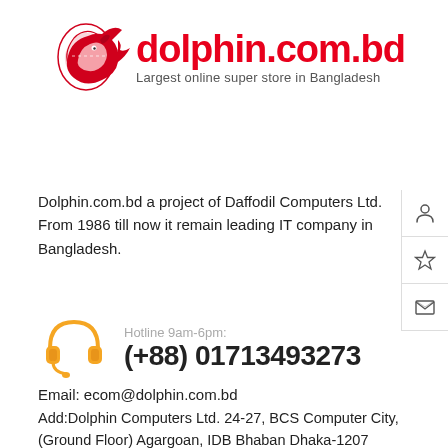[Figure (logo): Dolphin.com.bd logo with red dolphin graphic and red bold text 'dolphin.com.bd' with tagline 'Largest online super store in Bangladesh']
Dolphin.com.bd a project of Daffodil Computers Ltd. From 1986 till now it remain leading IT company in Bangladesh.
[Figure (illustration): Orange headset/headphone icon]
Hotline 9am-6pm:
(+88) 01713493273
Email: ecom@dolphin.com.bd
Add:Dolphin Computers Ltd. 24-27, BCS Computer City, (Ground Floor) Agargoan, IDB Bhaban Dhaka-1207